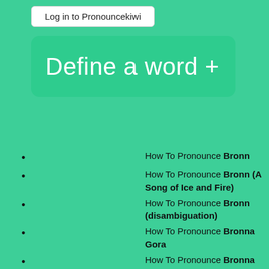Log in to Pronouncekiwi
[Figure (screenshot): Green button/banner with text 'Define a word +']
How To Pronounce Bronn
How To Pronounce Bronn (A Song of Ice and Fire)
How To Pronounce Bronn (disambiguation)
How To Pronounce Bronna Gora
How To Pronounce Bronna Góra
How To Pronounce Bronnant
How To Pronounce Bronnant Fault
How To Pronounce Bronnant Fault Zone
How To Pronounce bronnau
How To Pronounce Bronnbach